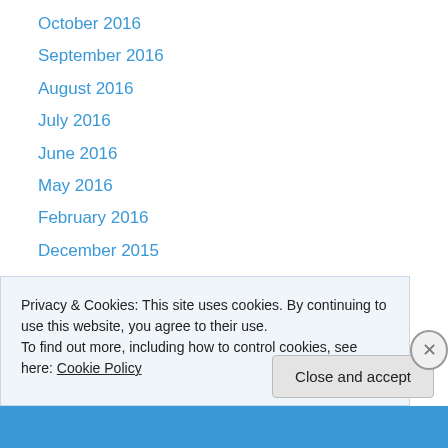October 2016
September 2016
August 2016
July 2016
June 2016
May 2016
February 2016
December 2015
November 2015
October 2015
June 2015
May 2015
April 2015
Privacy & Cookies: This site uses cookies. By continuing to use this website, you agree to their use.
To find out more, including how to control cookies, see here: Cookie Policy
Close and accept